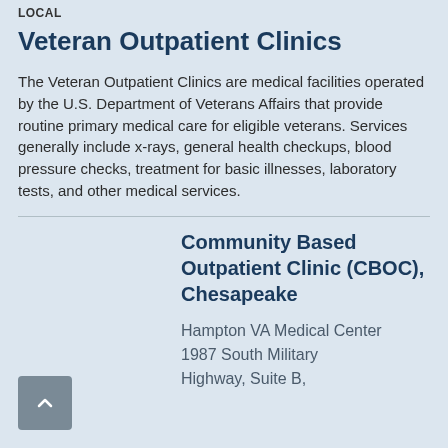LOCAL
Veteran Outpatient Clinics
The Veteran Outpatient Clinics are medical facilities operated by the U.S. Department of Veterans Affairs that provide routine primary medical care for eligible veterans. Services generally include x-rays, general health checkups, blood pressure checks, treatment for basic illnesses, laboratory tests, and other medical services.
Community Based Outpatient Clinic (CBOC), Chesapeake
Hampton VA Medical Center 1987 South Military Highway, Suite B,